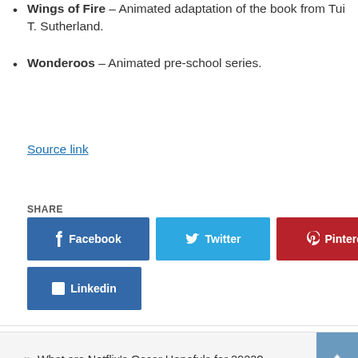Wings of Fire – Animated adaptation of the book from Tui T. Sutherland.
Wonderoos – Animated pre-school series.
Source link
SHARE
Facebook  Twitter  Pinterest  Linkedin
« What are Netflix's Oscar Hopefuls for 2022?